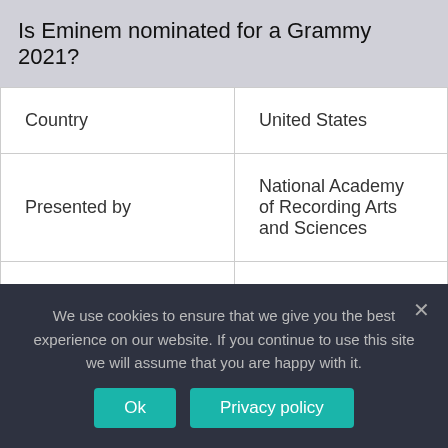Is Eminem nominated for a Grammy 2021?
| Country | United States |
| Presented by | National Academy of Recording Arts and Sciences |
| First awarded | 2004 |
| Currently held by | Megan Thee Stallion ft, Beyonce “Savage” (2021) |
We use cookies to ensure that we give you the best experience on our website. If you continue to use this site we will assume that you are happy with it.